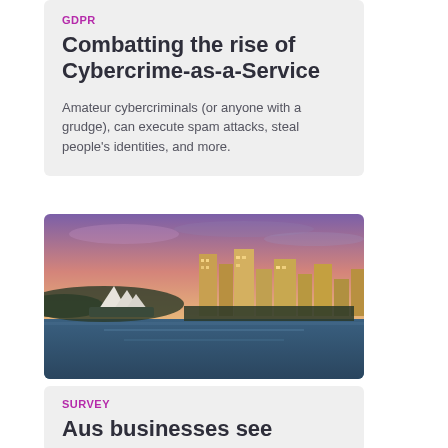GDPR
Combatting the rise of Cybercrime-as-a-Service
Amateur cybercriminals (or anyone with a grudge), can execute spam attacks, steal people's identities, and more.
[Figure (photo): Aerial sunset view of Sydney Harbour with the Opera House on the left and city skyline on the right, reflected in the water]
SURVEY
Aus businesses see